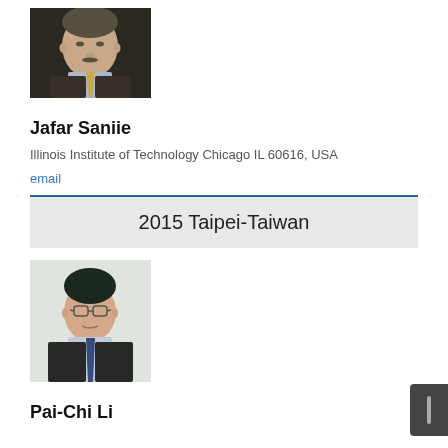[Figure (photo): Portrait photo of Jafar Saniie, an older man in a dark suit with a tie]
Jafar Saniie
Illinois Institute of Technology Chicago IL 60616, USA
email
2015 Taipei-Taiwan
[Figure (photo): Portrait photo of Pai-Chi Li, a man with glasses in a dark suit]
Pai-Chi Li